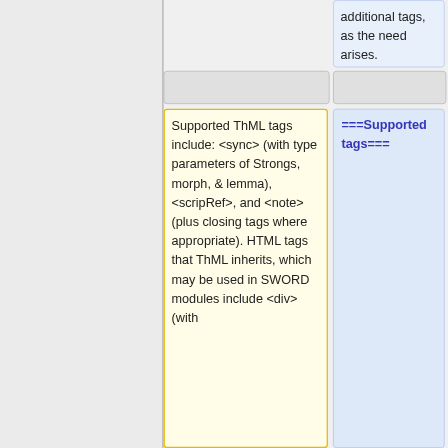additional tags, as the need arises.
===Supported tags===
Supported ThML tags include: &lt;sync&gt; (with type parameters of Strongs, morph, & lemma), &lt;scripRef&gt;, and &lt;note&gt; (plus closing tags where appropriate). HTML tags that ThML inherits, which may be used in SWORD modules include &lt;div&gt; (with